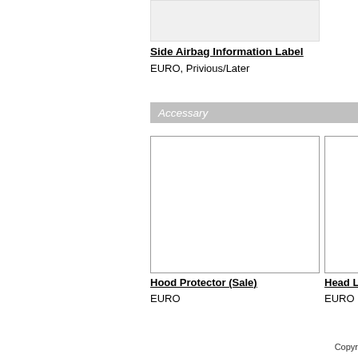[Figure (photo): Side Airbag Information Label image, partially cropped at top]
Side Airbag Information Label
EURO,  Privious/Later
Accessary
[Figure (photo): Hood Protector (Sale) image placeholder]
[Figure (photo): Head Lamp image placeholder, partially cropped at right]
Hood Protector (Sale)
EURO
Head Lamp
EURO
Copyr